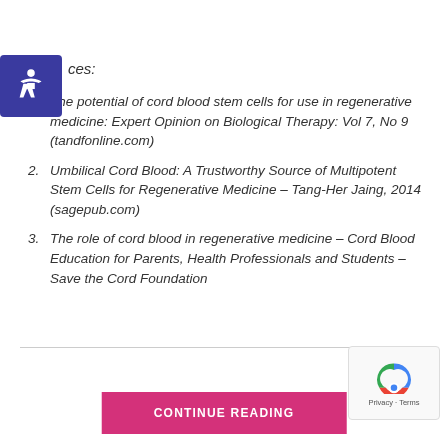ces:
The potential of cord blood stem cells for use in regenerative medicine: Expert Opinion on Biological Therapy: Vol 7, No 9 (tandfonline.com)
Umbilical Cord Blood: A Trustworthy Source of Multipotent Stem Cells for Regenerative Medicine – Tang-Her Jaing, 2014 (sagepub.com)
The role of cord blood in regenerative medicine – Cord Blood Education for Parents, Health Professionals and Students – Save the Cord Foundation
CONTINUE READING